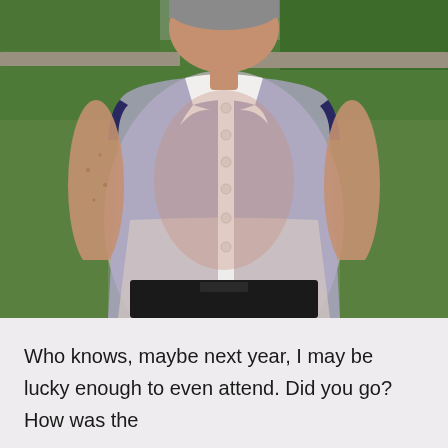[Figure (photo): A woman wearing a sheer sleeveless blue/lavender button-up blouse with white collar and button placket, and black pants, standing outdoors on a green lawn with hedges and stonework in the background.]
Who knows, maybe next year, I may be lucky enough to even attend. Did you go? How was the